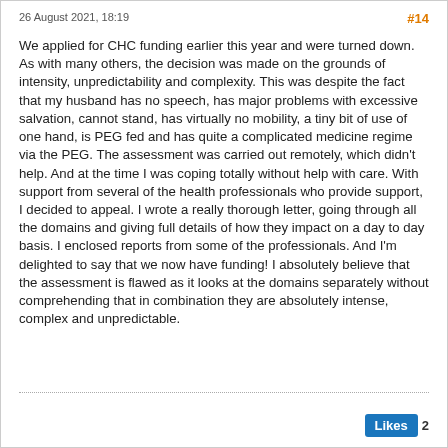26 August 2021, 18:19
#14
We applied for CHC funding earlier this year and were turned down. As with many others, the decision was made on the grounds of intensity, unpredictability and complexity. This was despite the fact that my husband has no speech, has major problems with excessive salvation, cannot stand, has virtually no mobility, a tiny bit of use of one hand, is PEG fed and has quite a complicated medicine regime via the PEG. The assessment was carried out remotely, which didn't help. And at the time I was coping totally without help with care. With support from several of the health professionals who provide support, I decided to appeal. I wrote a really thorough letter, going through all the domains and giving full details of how they impact on a day to day basis. I enclosed reports from some of the professionals. And I'm delighted to say that we now have funding! I absolutely believe that the assessment is flawed as it looks at the domains separately without comprehending that in combination they are absolutely intense, complex and unpredictable.
Likes 2